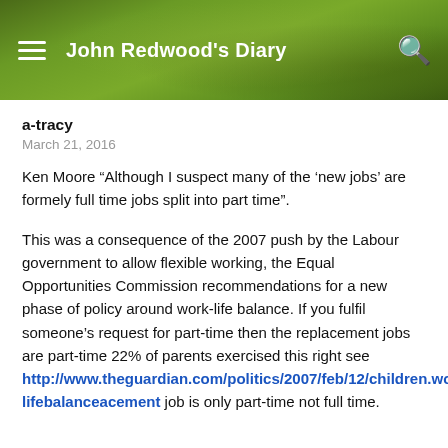John Redwood's Diary
a-tracy
March 21, 2016
Ken Moore “Although I suspect many of the ‘new jobs’ are formely full time jobs split into part time”.
This was a consequence of the 2007 push by the Labour government to allow flexible working, the Equal Opportunities Commission recommendations for a new phase of policy around work-life balance. If you fulfil someone’s request for part-time then the replacement jobs are part-time 22% of parents exercised this right see http://www.theguardian.com/politics/2007/feb/12/children.worklifebalanceacement job is only part-time not full time.